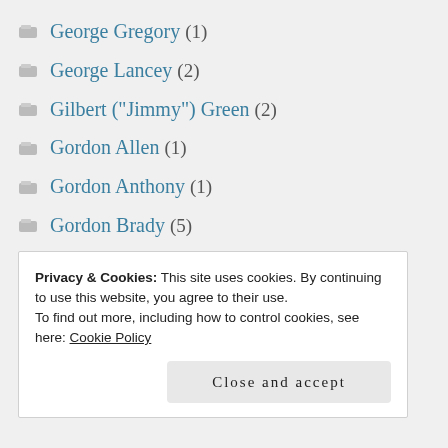George Gregory (1)
George Lancey (2)
Gilbert ("Jimmy") Green (2)
Gordon Allen (1)
Gordon Anthony (1)
Gordon Brady (5)
Gordon Price (2)
Gordon Yeo (3)
Gp Capt Charles Whitworth (2)
Privacy & Cookies: This site uses cookies. By continuing to use this website, you agree to their use.
To find out more, including how to control cookies, see here: Cookie Policy